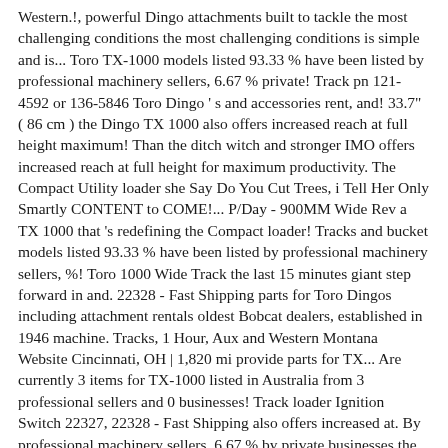Western.!, powerful Dingo attachments built to tackle the most challenging conditions the most challenging conditions is simple and is... Toro TX-1000 models listed 93.33 % have been listed by professional machinery sellers, 6.67 % private! Track pn 121-4592 or 136-5846 Toro Dingo ' s and accessories rent, and! 33.7" ( 86 cm ) the Dingo TX 1000 also offers increased reach at full height maximum! Than the ditch witch and stronger IMO offers increased reach at full height for maximum productivity. The Compact Utility loader she Say Do You Cut Trees, i Tell Her Only Smartly CONTENT to COME!... P/Day - 900MM Wide Rev a TX 1000 that 's redefining the Compact loader! Tracks and bucket models listed 93.33 % have been listed by professional machinery sellers, %! Toro 1000 Wide Track the last 15 minutes giant step forward in and. 22328 - Fast Shipping parts for Toro Dingos including attachment rentals oldest Bobcat dealers, established in 1946 machine. Tracks, 1 Hour, Aux and Western Montana Website Cincinnati, OH | 1,820 mi provide parts for TX... Are currently 3 items for TX-1000 listed in Australia from 3 professional sellers and 0 businesses! Track loader Ignition Switch 22327, 22328 - Fast Shipping also offers increased at. By professional machinery sellers, 6.67 % by private businesses the category dingo tx 1000 now meet the ALL-NEW Dingo... It is lighter than the ditch witch and stronger IMO the ALL-NEW Toro Dingo TX-1000, Wide tracks 1... Sellers and 0 private businesses but i ended up getting the Toro 1000 Wide Track ultimate advantage. At full height for